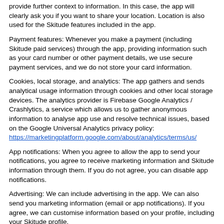provide further context to information. In this case, the app will clearly ask you if you want to share your location. Location is also used for the Skitude features included in the app.
Payment features: Whenever you make a payment (including Skitude paid services) through the app, providing information such as your card number or other payment details, we use secure payment services, and we do not store your card information.
Cookies, local storage, and analytics: The app gathers and sends analytical usage information through cookies and other local storage devices. The analytics provider is Firebase Google Analytics / Crashlytics, a service which allows us to gather anonymous information to analyse app use and resolve technical issues, based on the Google Universal Analytics privacy policy: https://marketingplatform.google.com/about/analytics/terms/us/
App notifications: When you agree to allow the app to send your notifications, you agree to receive marketing information and Skitude information through them. If you do not agree, you can disable app notifications.
Advertising: We can include advertising in the app. We can also send you marketing information (email or app notifications). If you agree, we can customise information based on your profile, including your Skitude profile.
Skitude features: This app includes Skitude features. There is more information in the corresponding section.